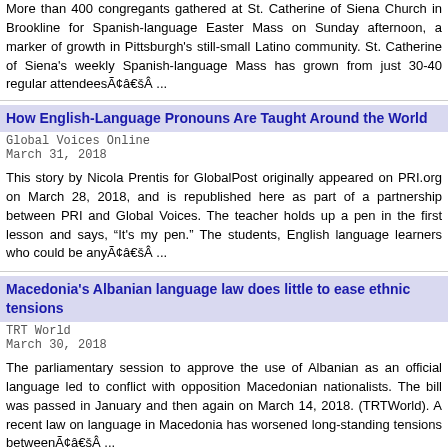More than 400 congregants gathered at St. Catherine of Siena Church in Brookline for Spanish-language Easter Mass on Sunday afternoon, a marker of growth in Pittsburgh's still-small Latino community. St. Catherine of Siena's weekly Spanish-language Mass has grown from just 30-40 regular attendeesÃ¢â€šÂ ...
How English-Language Pronouns Are Taught Around the World
Global Voices Online
March 31, 2018
This story by Nicola Prentis for GlobalPost originally appeared on PRI.org on March 28, 2018, and is republished here as part of a partnership between PRI and Global Voices. The teacher holds up a pen in the first lesson and says, “It's my pen.” The students, English language learners who could be anyÃ¢â€šÂ ...
Macedonia's Albanian language law does little to ease ethnic tensions
TRT World
March 30, 2018
The parliamentary session to approve the use of Albanian as an official language led to conflict with opposition Macedonian nationalists. The bill was passed in January and then again on March 14, 2018. (TRTWorld). A recent law on language in Macedonia has worsened long-standing tensions betweenÃ¢â€šÂ ...